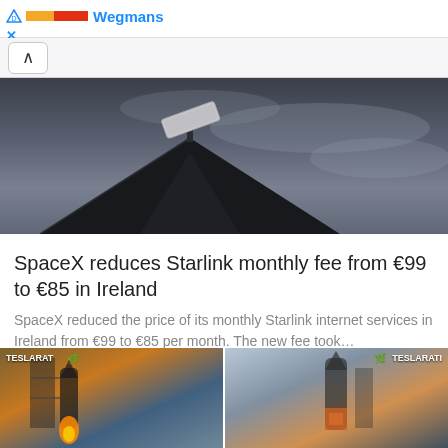Wegmans
[Figure (photo): Starlink satellite dish mounted on a rooftop against a cloudy dark sky]
SpaceX reduces Starlink monthly fee from €99 to €85 in Ireland
SpaceX reduced the price of its monthly Starlink internet services in Ireland from €99 to €85 per month. The new fee took...
[Figure (photo): Two thumbnail images of rockets/launches with TESLARAT branding]
TESLARAT